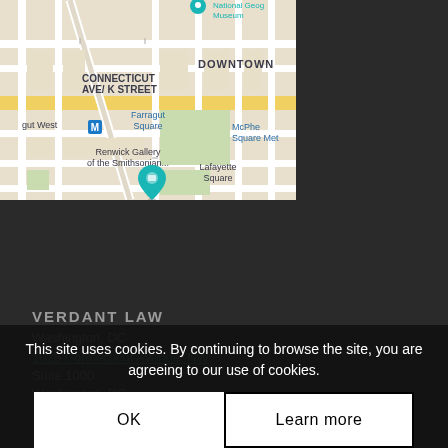[Figure (map): Google Maps screenshot showing downtown Washington DC area including Connecticut Ave/K Street, Farragut Square, Renwick Gallery of the Smithsonian, Lafayette Square, National Geographic Museum, McPherson Square Metro, and a map pin marker]
VERDANT LAW
Washington, DC
1025 Connecticut Avenue, NW
Suite 1000
Washington, DC
This site uses cookies. By continuing to browse the site, you are agreeing to our use of cookies.
OK
Learn more